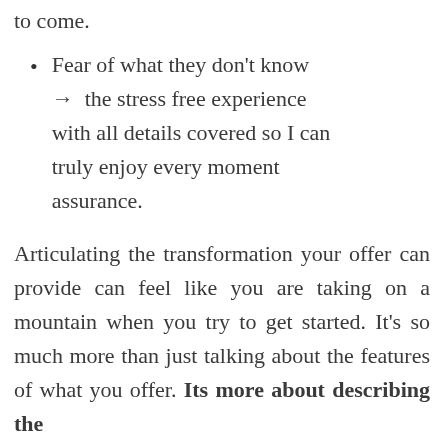to come.
Fear of what they don't know → the stress free experience with all details covered so I can truly enjoy every moment assurance.
Articulating the transformation your offer can provide can feel like you are taking on a mountain when you try to get started. It's so much more than just talking about the features of what you offer. Its more about describing the